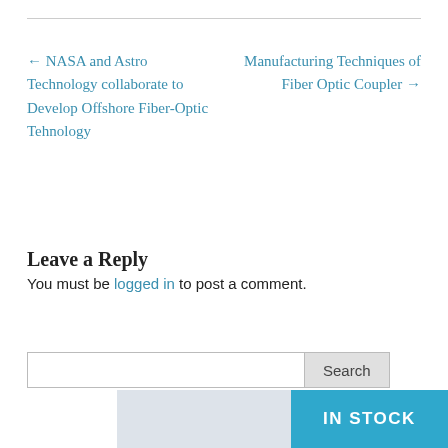← NASA and Astro Technology collaborate to Develop Offshore Fiber-Optic Tehnology
Manufacturing Techniques of Fiber Optic Coupler →
Leave a Reply
You must be logged in to post a comment.
[Figure (other): Search input field with Search button]
[Figure (infographic): IN STOCK banner with blue and grey background]